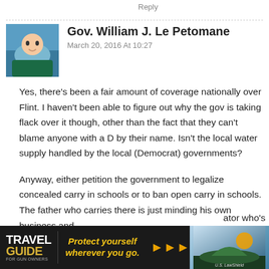Reply
Gov. William J. Le Petomane
March 20, 2016 At 10:27
Yes, there's been a fair amount of coverage nationally over Flint. I haven't been able to figure out why the gov is taking flack over it though, other than the fact that they can't blame anyone with a D by their name. Isn't the local water supply handled by the local (Democrat) governments?
Anyway, either petition the government to legalize concealed carry in schools or to ban open carry in schools. The father who carries there is just minding his own business and ator who's
[Figure (screenshot): Travel Guide for Gun Owners advertisement banner with text 'Protect yourself wherever you go.' and US LawShield logo]